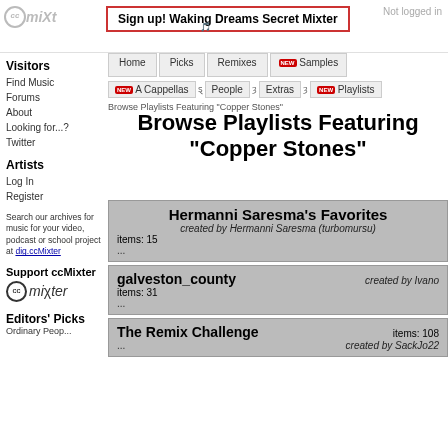Sign up! Waking Dreams Secret Mixter | Not logged in
Home | Picks | Remixes | NEW Samples | NEW A Cappellas | People | Extras | NEW Playlists
Browse Playlists Featuring "Copper Stones"
Browse Playlists Featuring "Copper Stones"
Visitors
Find Music
Forums
About
Looking for...?
Twitter
Artists
Log In
Register
Search our archives for music for your video, podcast or school project at dig.ccMixter
Support ccMixter
Editors' Picks
Ordinary Peop...
| Playlist | Creator | Items |
| --- | --- | --- |
| Hermanni Saresma's Favorites | Hermanni Saresma (turbomursu) | 15 |
| galveston_county | Ivano | 31 |
| The Remix Challenge | SackJo22 | 108 |